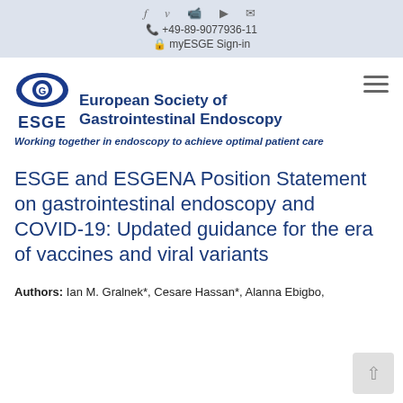f  y  in  ▶  ✉  📞 +49-89-9077936-11  🔒 myESGE Sign-in
[Figure (logo): ESGE logo: blue eye graphic with 'ESGE' text below, and 'European Society of Gastrointestinal Endoscopy' in bold blue text to the right]
Working together in endoscopy to achieve optimal patient care
ESGE and ESGENA Position Statement on gastrointestinal endoscopy and COVID-19: Updated guidance for the era of vaccines and viral variants
Authors: Ian M. Gralnek*, Cesare Hassan*, Alanna Ebigbo,